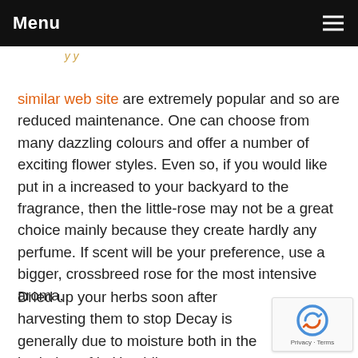Menu
similar web site are extremely popular and so are reduced maintenance. One can choose from many dazzling colours and offer a number of exciting flower styles. Even so, if you would like put in a increased to your backyard to the fragrance, then the little-rose may not be a great choice mainly because they create hardly any perfume. If scent will be your preference, use a bigger, crossbreed rose for the most intensive aroma.
Dried up your herbs soon after harvesting them to stop Decay is generally due to moisture both in the herbal or of it. Humidity can cause the production of unwanted